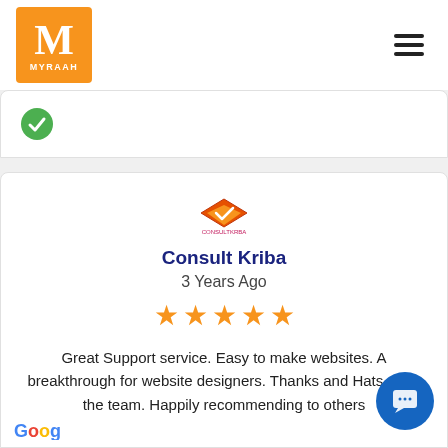[Figure (logo): Myraah orange logo with letter M and hamburger menu icon]
[Figure (logo): Partial previous review card with green checkmark icon]
[Figure (logo): Consult Kriba company logo - orange and red diamond with checkmark]
Consult Kriba
3 Years Ago
[Figure (infographic): 5 orange stars rating]
Great Support service. Easy to make websites. A breakthrough for website designers. Thanks and Hats off to the team. Happily recommending to others
[Figure (logo): Google logo partial at bottom]
[Figure (illustration): Blue circular chat/message button in bottom right]